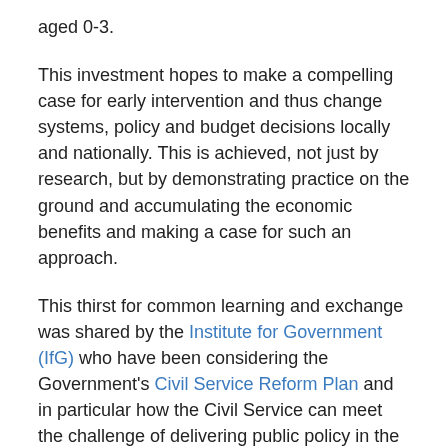aged 0-3.
This investment hopes to make a compelling case for early intervention and thus change systems, policy and budget decisions locally and nationally. This is achieved, not just by research, but by demonstrating practice on the ground and accumulating the economic benefits and making a case for such an approach.
This thirst for common learning and exchange was shared by the Institute for Government (IfG) who have been considering the Government's Civil Service Reform Plan and in particular how the Civil Service can meet the challenge of delivering public policy in the ‘real world.’
Today BIG and IfG will launch an exciting new partnership called ‘Connecting Policy with Practice:People Powered Change’. The page will also share their insights with the